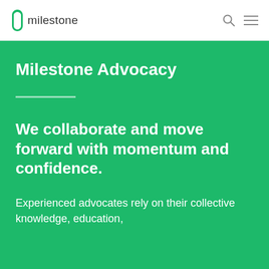milestone
Milestone Advocacy
We collaborate and move forward with momentum and confidence.
Experienced advocates rely on their collective knowledge, education,